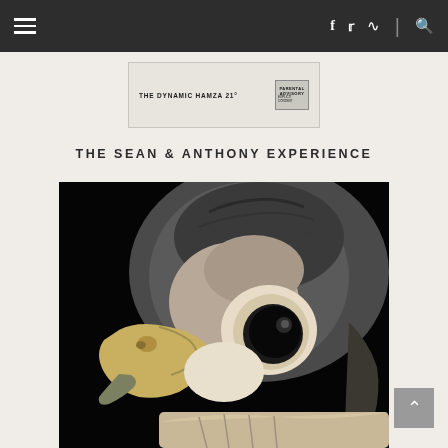Navigation bar with hamburger menu, social icons (f, twitter, rss), divider, and search icon
[Figure (photo): Album cover thumbnail showing text 'THE DYNAMIC HAMZA 21' with a parental advisory label on the right side, on a light background]
THE SEAN & ANTHONY EXPERIENCE
[Figure (photo): Close-up photograph of a falcon or hawk head against a black background, showing the bird's sharp beak, yellow cere, and large dark eye with detailed feather texture]